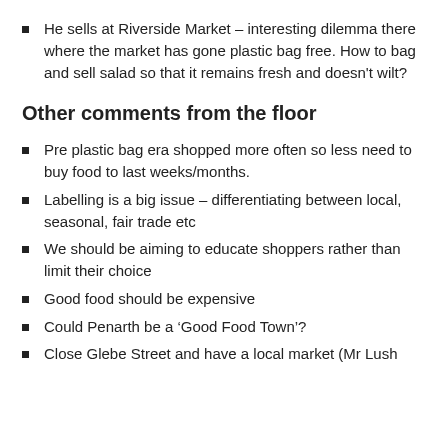He sells at Riverside Market – interesting dilemma there where the market has gone plastic bag free. How to bag and sell salad so that it remains fresh and doesn't wilt?
Other comments from the floor
Pre plastic bag era shopped more often so less need to buy food to last weeks/months.
Labelling is a big issue – differentiating between local, seasonal, fair trade etc
We should be aiming to educate shoppers rather than limit their choice
Good food should be expensive
Could Penarth be a ‘Good Food Town’?
Close Glebe Street and have a local market (Mr Lush